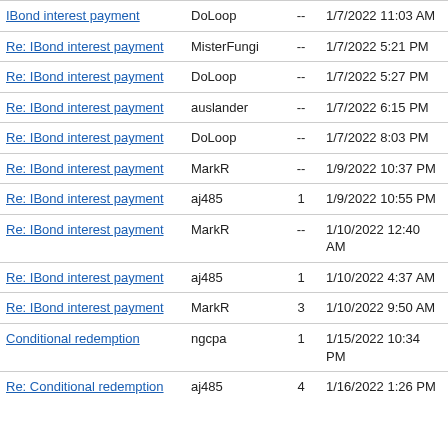| Subject | Author | Replies | Date | ID |
| --- | --- | --- | --- | --- |
| IBond interest payment | DoLoop | -- | 1/7/2022 11:03 AM | 37071 |
| Re: IBond interest payment | MisterFungi | -- | 1/7/2022 5:21 PM | 37072 |
| Re: IBond interest payment | DoLoop | -- | 1/7/2022 5:27 PM | 37073 |
| Re: IBond interest payment | auslander | -- | 1/7/2022 6:15 PM | 37074 |
| Re: IBond interest payment | DoLoop | -- | 1/7/2022 8:03 PM | 37075 |
| Re: IBond interest payment | MarkR | -- | 1/9/2022 10:37 PM | 37076 |
| Re: IBond interest payment | aj485 | 1 | 1/9/2022 10:55 PM | 37077 |
| Re: IBond interest payment | MarkR | -- | 1/10/2022 12:40 AM | 37078 |
| Re: IBond interest payment | aj485 | 1 | 1/10/2022 4:37 AM | 37079 |
| Re: IBond interest payment | MarkR | 3 | 1/10/2022 9:50 AM | 37080 |
| Conditional redemption | ngcpa | 1 | 1/15/2022 10:34 PM | 37081 |
| Re: Conditional redemption | aj485 | 4 | 1/16/2022 1:26 PM | 37082 |